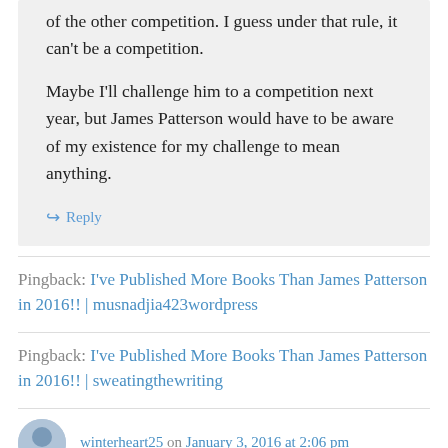of the other competition. I guess under that rule, it can't be a competition.

Maybe I'll challenge him to a competition next year, but James Patterson would have to be aware of my existence for my challenge to mean anything.
↪ Reply
Pingback: I've Published More Books Than James Patterson in 2016!! | musnadjia423wordpress
Pingback: I've Published More Books Than James Patterson in 2016!! | sweatingthewriting
winterheart25 on January 3, 2016 at 2:06 pm